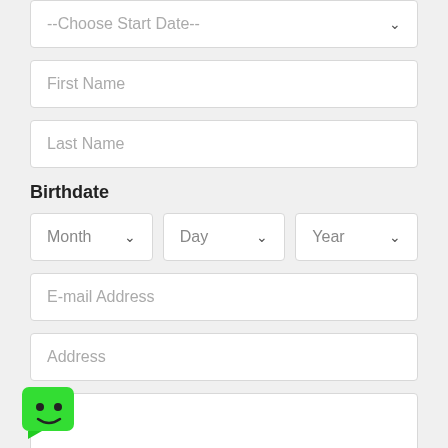--Choose Start Date--
First Name
Last Name
Birthdate
Month
Day
Year
E-mail Address
Address
[Figure (illustration): Green chatbot/mascot icon with smiley face]
Choose State